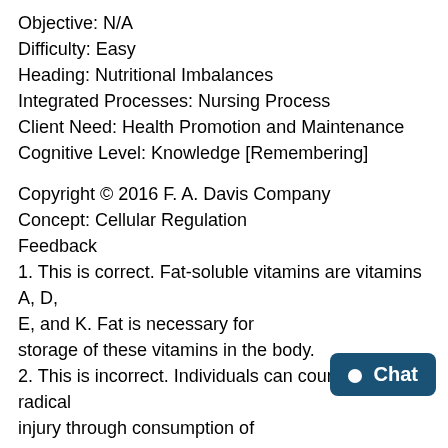Objective: N/A
Difficulty: Easy
Heading: Nutritional Imbalances
Integrated Processes: Nursing Process
Client Need: Health Promotion and Maintenance
Cognitive Level: Knowledge [Remembering]
Copyright © 2016 F. A. Davis Company
Concept: Cellular Regulation
Feedback
1. This is correct. Fat-soluble vitamins are vitamins A, D, E, and K. Fat is necessary for storage of these vitamins in the body.
2. This is incorrect. Individuals can counteract free radical injury through consumption of antioxidants such as vitamin C.
3. This is correct. Fat-soluble vitamins are vitamins A, D,